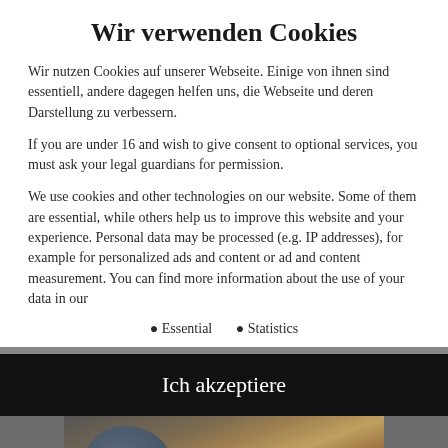Wir verwenden Cookies
Wir nutzen Cookies auf unserer Webseite. Einige von ihnen sind essentiell, andere dagegen helfen uns, die Webseite und deren Darstellung zu verbessern.
If you are under 16 and wish to give consent to optional services, you must ask your legal guardians for permission.
We use cookies and other technologies on our website. Some of them are essential, while others help us to improve this website and your experience. Personal data may be processed (e.g. IP addresses), for example for personalized ads and content or ad and content measurement. You can find more information about the use of your data in our
Essential
Statistics
Ich akzeptiere
[Figure (photo): Background photo of a cookie or baked good being held, with a dark ceramic cup/bowl in the background, partially visible beneath the cookie consent modal.]